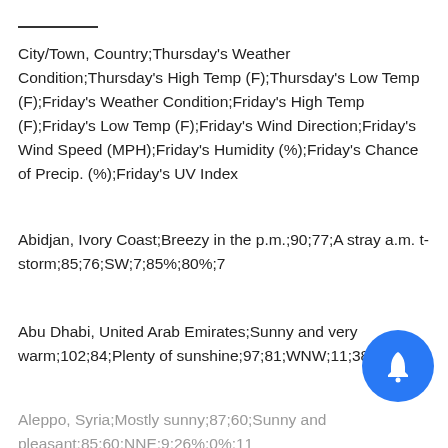City/Town, Country;Thursday's Weather Condition;Thursday's High Temp (F);Thursday's Low Temp (F);Friday's Weather Condition;Friday's High Temp (F);Friday's Low Temp (F);Friday's Wind Direction;Friday's Wind Speed (MPH);Friday's Humidity (%);Friday's Chance of Precip. (%);Friday's UV Index
Abidjan, Ivory Coast;Breezy in the p.m.;90;77;A stray a.m. t-storm;85;76;SW;7;85%;80%;7
Abu Dhabi, United Arab Emirates;Sunny and very warm;102;84;Plenty of sunshine;97;81;WNW;11;38%;...
Aleppo, Syria;Mostly sunny;87;60;Sunny and pleasant;85;60;NNE;9;26%;0%;11